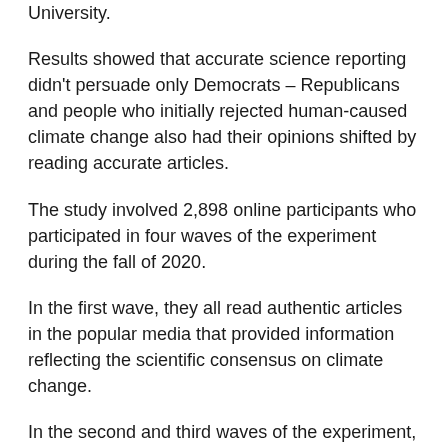University.
Results showed that accurate science reporting didn't persuade only Democrats – Republicans and people who initially rejected human-caused climate change also had their opinions shifted by reading accurate articles.
The study involved 2,898 online participants who participated in four waves of the experiment during the fall of 2020.
In the first wave, they all read authentic articles in the popular media that provided information reflecting the scientific consensus on climate change.
In the second and third waves of the experiment, they read either another scientific article, an opinion article that was skeptical of climate science, an article that discussed the partisan debate over climate change, or an article on an unrelated subject.
In the fourth wave, the participants simply were asked their beliefs about the science of climate change and their